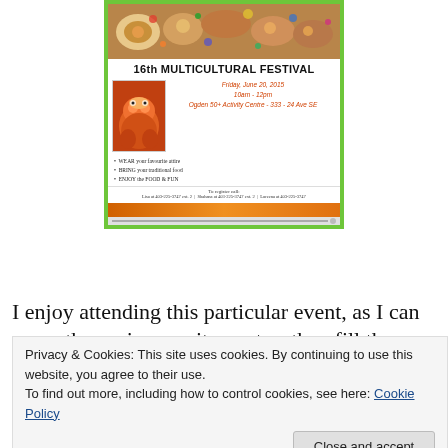[Figure (photo): Flyer for 16th Multicultural Festival with food image at top, lion dance image on left, event details on right, orange bar at bottom, surrounded by green border.]
I enjoy attending this particular event, as I can sense the seniors excitement as they fill the room, visit with their long time friends and
Privacy & Cookies: This site uses cookies. By continuing to use this website, you agree to their use.
To find out more, including how to control cookies, see here: Cookie Policy
Close and accept
What is your name and where are you from?